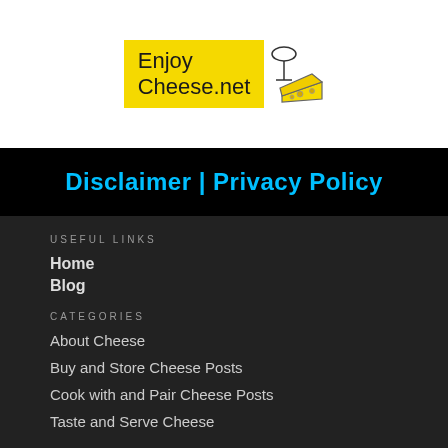[Figure (logo): EnjoyCheeseNet logo with yellow background and cheese illustration]
Disclaimer | Privacy Policy
USEFUL LINKS
Home
Blog
CATEGORIES
About Cheese
Buy and Store Cheese Posts
Cook with and Pair Cheese Posts
Taste and Serve Cheese